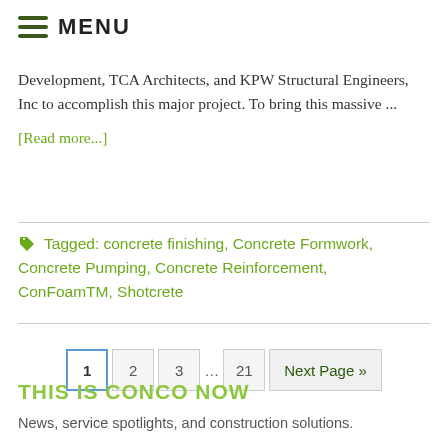≡ MENU
Development, TCA Architects, and KPW Structural Engineers, Inc to accomplish this major project. To bring this massive ...
[Read more...]
Tagged: concrete finishing, Concrete Formwork, Concrete Pumping, Concrete Reinforcement, ConFoamTM, Shotcrete
1  2  3  …  21  Next Page »
THIS IS CONCO NOW
News, service spotlights, and construction solutions.